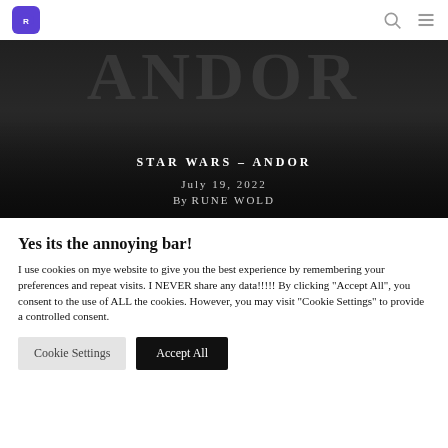Rune Wold blog — logo and navigation icons
[Figure (photo): Dark hero image with large partially-visible text 'ANDOR' in dark distressed letters, overlaid with article title, date, and author]
STAR WARS – ANDOR
July 19, 2022
By RUNE WOLD
Yes its the annoying bar!
I use cookies on mye website to give you the best experience by remembering your preferences and repeat visits. I NEVER share any data!!!!! By clicking "Accept All", you consent to the use of ALL the cookies. However, you may visit "Cookie Settings" to provide a controlled consent.
Cookie Settings | Accept All